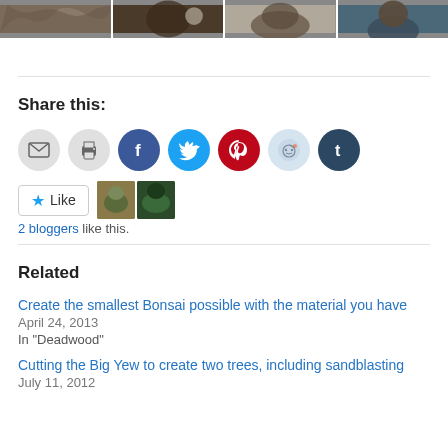[Figure (photo): Strip of three photos at top: curly hair, dark figure holding object, person with dark hair in front of teal background]
Share this:
[Figure (infographic): Row of social sharing icons: email (grey), print (grey), Facebook (blue), Twitter (cyan), Pinterest (red), Reddit (light blue), Tumblr (dark blue)]
2 bloggers like this.
Related
Create the smallest Bonsai possible with the material you have
April 24, 2013
In "Deadwood"
Cutting the Big Yew to create two trees, including sandblasting
July 11, 2012